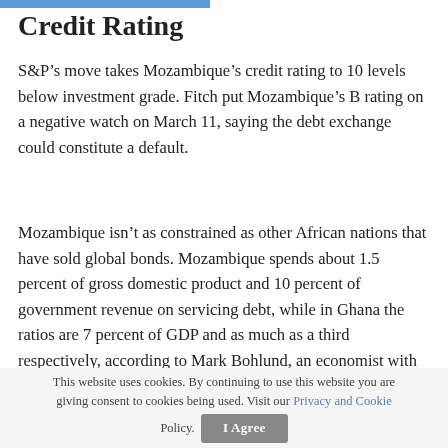Credit Rating
S&P’s move takes Mozambique’s credit rating to 10 levels below investment grade. Fitch put Mozambique’s B rating on a negative watch on March 11, saying the debt exchange could constitute a default.
Mozambique isn’t as constrained as other African nations that have sold global bonds. Mozambique spends about 1.5 percent of gross domestic product and 10 percent of government revenue on servicing debt, while in Ghana the ratios are 7 percent of GDP and as much as a third respectively, according to Mark Bohlund, an economist with Bloomberg Intelligence.
This website uses cookies. By continuing to use this website you are giving consent to cookies being used. Visit our Privacy and Cookie Policy. I Agree